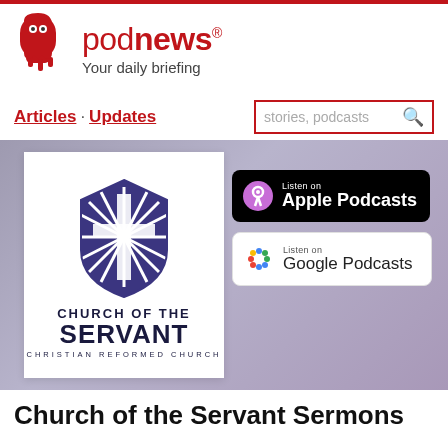podnews - Your daily briefing
Articles · Updates
[Figure (screenshot): Podnews website screenshot showing Church of the Servant Sermons podcast page with logo, Apple Podcasts and Google Podcasts badges on a purple gradient banner]
Church of the Servant Sermons